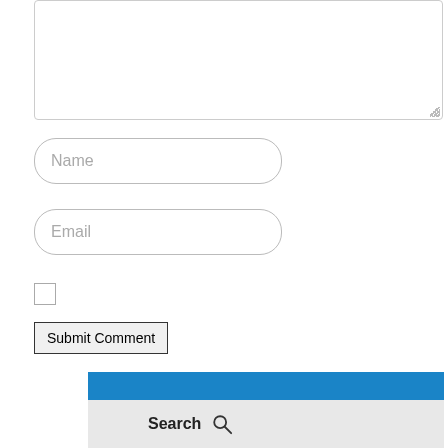[Figure (screenshot): Comment form textarea (top portion visible, with resize handle at bottom right corner)]
Name
Email
[Figure (screenshot): Checkbox (unchecked)]
Submit Comment
Blog Home
Search